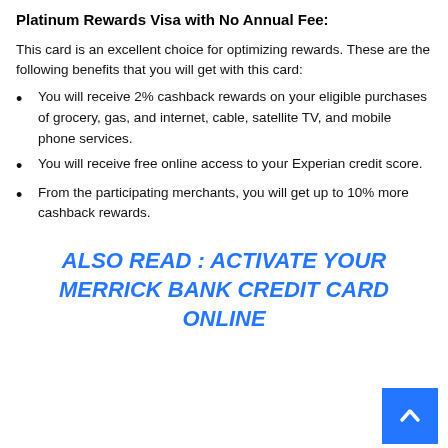Platinum Rewards Visa with No Annual Fee:
This card is an excellent choice for optimizing rewards. These are the following benefits that you will get with this card:
You will receive 2% cashback rewards on your eligible purchases of grocery, gas, and internet, cable, satellite TV, and mobile phone services.
You will receive free online access to your Experian credit score.
From the participating merchants, you will get up to 10% more cashback rewards.
ALSO READ : ACTIVATE YOUR MERRICK BANK CREDIT CARD ONLINE